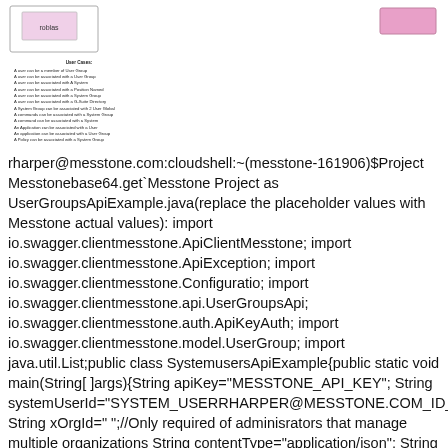[Figure (schematic): Top-left schematic box with 'roblas' label, pink/outlined rectangle UI element]
[Figure (schematic): Top-right pink filled rectangle schematic element]
User Cases: A user can be a member of User Group A user can be associated with a User Group A user can be associated with A System A user can be associated with a Position Named A user can be associated with a System Group A user can be associated with a G-Suite Directory A System Group can be associated with 2 User Global A commands can be associated with a System Group A command can be associated with a System An Application can be associated with a User An application can be associated with a User Group A Policy can be associated with a System Group
rharper@messtone.com:cloudshell:~(messtone-161906)$Project Messtonebase64.get`Messtone Project as UserGroupsApiExample.java(replace the placeholder values with Messtone actual values): import io.swagger.clientmesstone.ApiClientMesstone; import io.swagger.clientmesstone.ApiException; import io.swagger.clientmesstone.Configuratio; import io.swagger.clientmesstone.api.UserGroupsApi; io.swagger.clientmesstone.auth.ApiKeyAuth; import io.swagger.clientmesstone.model.UserGroup; import java.util.List;public class SystemusersApiExample{public static void main(String[ ]args){String apiKey="MESSTONE_API_KEY"; String systemUserId="SYSTEM_USERRHARPER@MESSTONE.COM_ID_TO_UPDATE"; String xOrgId=" ";//Only required of adminisrators that manage multiple organizations String contentType="application/json"; String accept="application/json"; //Set up the configuration object with Messtone API key f or authorization ApiClientmesstone